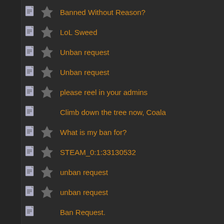Banned Without Reason?
LoL Sweed
Unban request
Unban request
please reel in your admins
Climb down the tree now, Coala
What is my ban for?
STEAM_0:1:33130532
unban request
unban request
Ban Request.